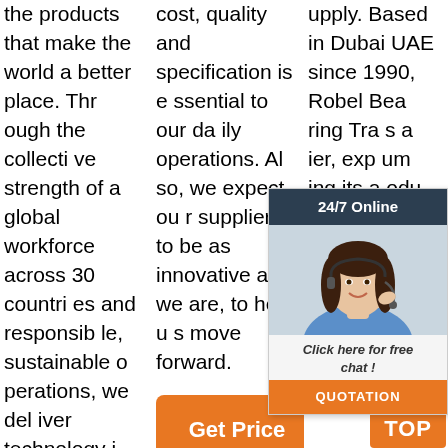the products that make the world a better place. Through the collective strength of a global workforce across 30 countries and responsible, sustainable operations, we deliver technology innovation, supply chain, and manufacturing solutions to various industries and end markets.
cost, quality and specification is essential to our daily operations. Also, we expect our suppliers to be as innovative as we are, to help us move forward.
[Figure (other): Get Price orange button]
upply. Based in Dubai UAE since 1990, Robel Bearing Trading s a ier, exp um ing its a odu otive, Industrial & Oilfield applications.
[Figure (other): 24/7 Online chat widget with female customer service representative photo, 'Click here for free chat!' text, and QUOTATION button]
[Figure (other): TOP button with orange dots decoration]